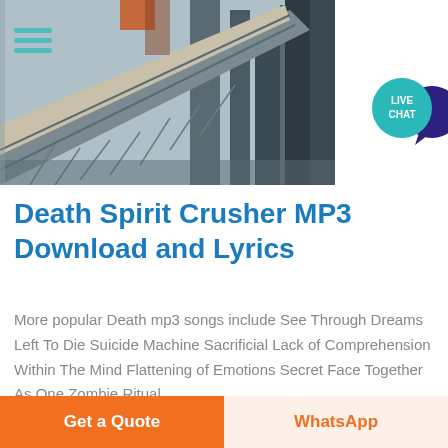[Figure (photo): Industrial conveyor belt at a mining or crushing facility with large metal structures and silos in the background]
Death Spirit Crusher MP3 Download and Lyrics
More popular Death mp3 songs include See Through Dreams Left To Die Suicide Machine Sacrificial Lack of Comprehension Within The Mind Flattening of Emotions Secret Face Together As One Zombie Ritual
Get a Quote
WhatsApp